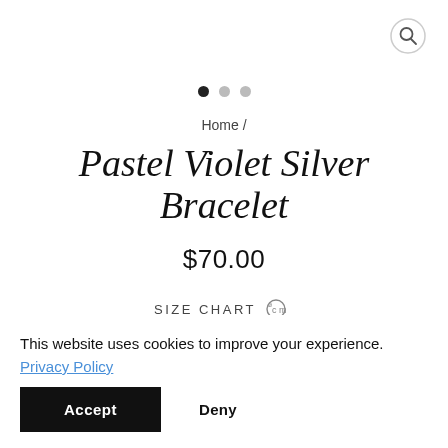[Figure (illustration): Search icon (magnifying glass) in top right corner inside a circle]
[Figure (illustration): Three dots navigation indicator: one filled black dot and two gray dots]
Home /
Pastel Violet Silver Bracelet
$70.00
SIZE CHART
This website uses cookies to improve your experience.
Privacy Policy
Accept
Deny